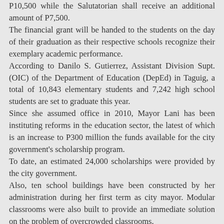P10,500 while the Salutatorian shall receive an additional amount of P7,500. The financial grant will be handed to the students on the day of their graduation as their respective schools recognize their exemplary academic performance. According to Danilo S. Gutierrez, Assistant Division Supt. (OIC) of the Department of Education (DepEd) in Taguig, a total of 10,843 elementary students and 7,242 high school students are set to graduate this year. Since she assumed office in 2010, Mayor Lani has been instituting reforms in the education sector, the latest of which is an increase to P300 million the funds available for the city government's scholarship program. To date, an estimated 24,000 scholarships were provided by the city government. Also, ten school buildings have been constructed by her administration during her first term as city mayor. Modular classrooms were also built to provide an immediate solution on the problem of overcrowded classrooms. Side-by-side with the modular classrooms, the city government also introduced the Taguig City Learner's Certificate Program (TLC) which intends to decongest